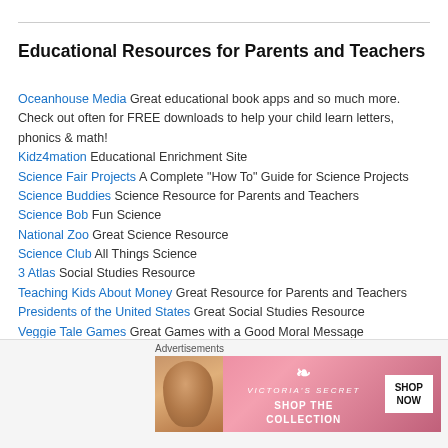Educational Resources for Parents and Teachers
Oceanhouse Media Great educational book apps and so much more. Check out often for FREE downloads to help your child learn letters, phonics & math!
Kidz4mation Educational Enrichment Site
Science Fair Projects A Complete “How To” Guide for Science Projects
Science Buddies Science Resource for Parents and Teachers
Science Bob Fun Science
National Zoo Great Science Resource
Science Club All Things Science
3 Atlas Social Studies Resource
Teaching Kids About Money Great Resource for Parents and Teachers
Presidents of the United States Great Social Studies Resource
Veggie Tale Games Great Games with a Good Moral Message
Advertisements
[Figure (photo): Victoria's Secret advertisement banner with model photo, logo, 'SHOP THE COLLECTION' text, and 'SHOP NOW' button]